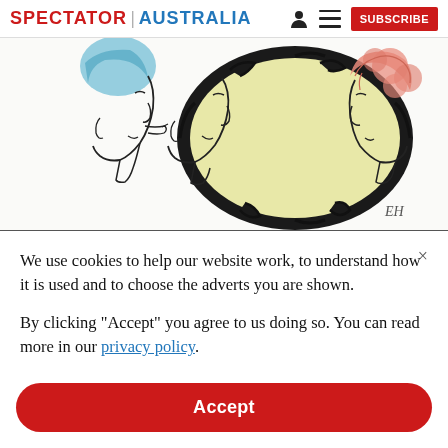SPECTATOR | AUSTRALIA
[Figure (illustration): Illustration of two faces in profile looking at each other — one with blue hair looking into an ornate black mirror, seeing a reflection with pink/red curly hair. The mirror has a yellow/cream interior and decorative black frame. Artist initials 'EH' in bottom right corner.]
We use cookies to help our website work, to understand how it is used and to choose the adverts you are shown.

By clicking "Accept" you agree to us doing so. You can read more in our privacy policy.